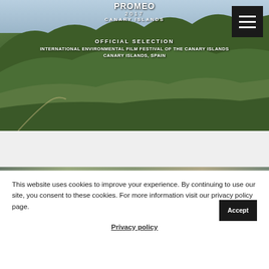[Figure (photo): Aerial landscape photo of green mountainous valley in Canary Islands with winding roads, overlaid with festival logo text reading PROMEO 2017 CANARY ISLANDS, OFFICIAL SELECTION, INTERNATIONAL ENVIRONMENTAL FILM FESTIVAL OF THE CANARY ISLANDS, CANARY ISLANDS, SPAIN. A hamburger menu button is in the top right corner.]
This website uses cookies to improve your experience. By continuing to use our site, you consent to these cookies. For more information visit our privacy policy page.
Accept
Privacy policy